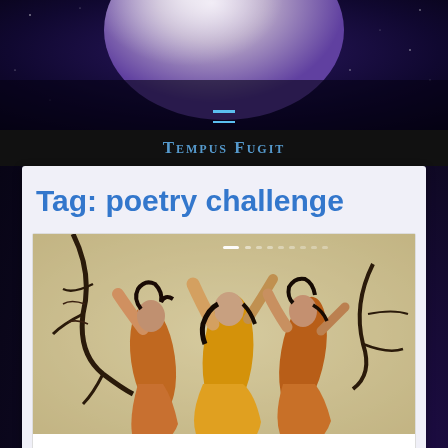[Figure (photo): Space/nebula background with planet shape, dark purple and blue tones with stars]
Tempus Fugit
Tag: poetry challenge
[Figure (illustration): Classical illustration of three female figures in orange flowing robes dancing among bare tree branches, resembling Arthur Rackham style artwork]
Zephyr's Fair Child